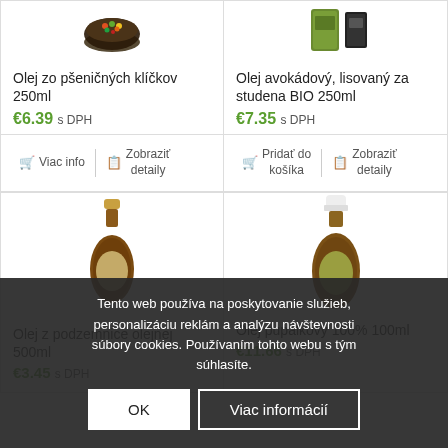[Figure (photo): Product image: Olej zo pšeničných klíčkov 250ml - dark bowl with grains]
Olej zo pšeničných klíčkov 250ml
€6.39 s DPH
Viac info
Zobraziť detaily
[Figure (photo): Product image: Olej avokádový, lisovaný za studena BIO 250ml - green packaging]
Olej avokádový, lisovaný za studena BIO 250ml
€7.35 s DPH
Pridať do košíka
Zobraziť detaily
[Figure (photo): Product image: Olej z podzemnice olejnej 500ml - dark amber bottle]
[Figure (photo): Product image: Olej pupalkový 100% 100ml - amber bottle with white cap]
Tento web používa na poskytovanie služieb, personalizáciu reklám a analýzu návštevnosti súbory cookies. Používaním tohto webu s tým súhlasíte.
OK
Viac informácií
Olej z podzemnice olejnej 500ml
€3.45 s DPH
Olej pupalkový 100% 100ml
€11.66 s DPH